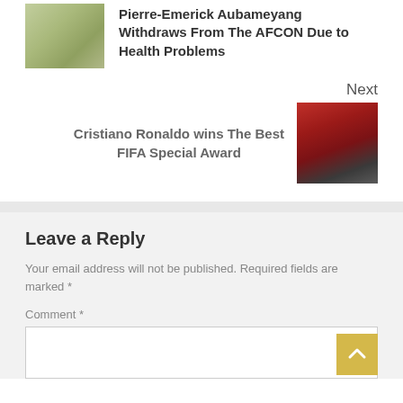[Figure (photo): Soccer player in yellow/green Arsenal kit]
Pierre-Emerick Aubameyang Withdraws From The AFCON Due to Health Problems
Next
Cristiano Ronaldo wins The Best FIFA Special Award
[Figure (photo): Soccer player in red Portugal kit]
Leave a Reply
Your email address will not be published. Required fields are marked *
Comment *